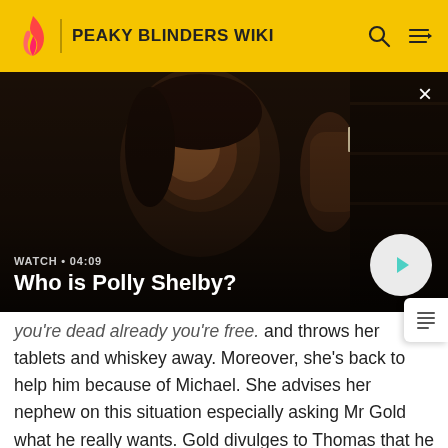PEAKY BLINDERS WIKI
[Figure (screenshot): Video thumbnail showing a woman (Polly Shelby) with dark hair in a dramatic scene, holding something up. Overlay shows watch label WATCH • 04:09 and title Who is Polly Shelby? with a play button.]
WATCH • 04:09 — Who is Polly Shelby?
you're dead already you're free.  and throws her tablets and whiskey away. Moreover, she's back to help him because of Michael. She advises her nephew on this situation especially asking Mr Gold what he really wants. Gold divulges to Thomas that he wants him to help his son Bonnie Gold to be a boxer.